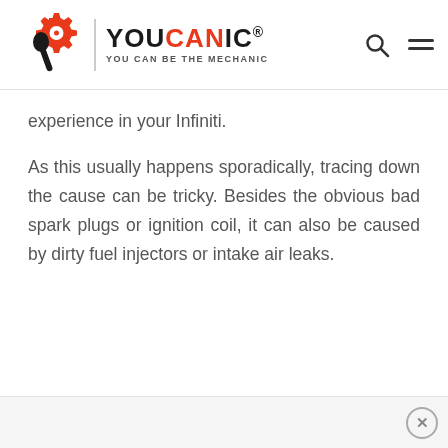YOUCANIC — YOU CAN BE THE MECHANIC
experience in your Infiniti.
As this usually happens sporadically, tracing down the cause can be tricky. Besides the obvious bad spark plugs or ignition coil, it can also be caused by dirty fuel injectors or intake air leaks.